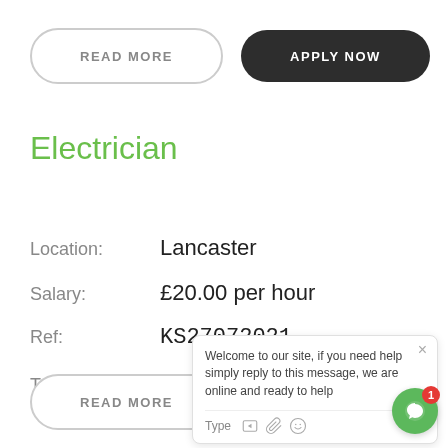READ MORE
APPLY NOW
Electrician
Location:	Lancaster
Salary:	£20.00 per hour
Ref:	KS27072021
Type:	Temporary
READ MORE
APPLY NOW
Welcome to our site, if you need help simply reply to this message, we are online and ready to help
Type